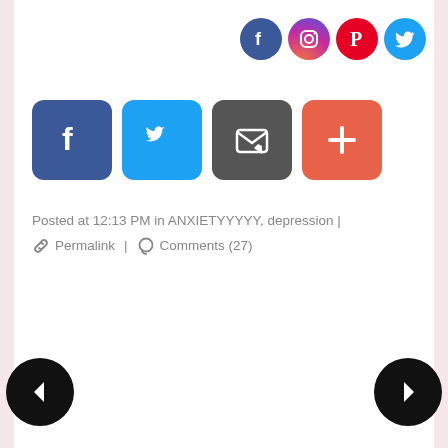[Figure (infographic): Social media icon buttons top right: Facebook (blue circle), Instagram (pink/red circle), Pinterest (red circle), Twitter (blue circle)]
[Figure (infographic): Share buttons row: Facebook (dark blue rounded square with f), Twitter (light blue rounded square with bird), Email (dark grey rounded square with envelope), More/Plus (orange-red rounded square with plus sign)]
Posted at 12:13 PM in ANXIETYYYYY, depression |
🔗 Permalink | 💬 Comments (27)
[Figure (infographic): Left navigation arrow - black circle with white left arrow]
[Figure (infographic): Right navigation arrow - black circle with white right arrow]